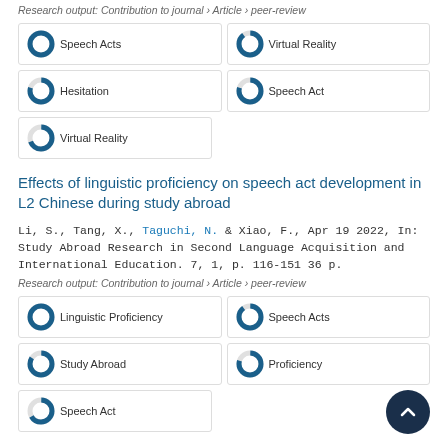Research output: Contribution to journal › Article › peer-review
[Figure (infographic): Keyword badges with donut charts: Speech Acts 100%, Virtual Reality ~90%, Hesitation ~80%, Speech Act ~80%, Virtual Reality ~70%]
Effects of linguistic proficiency on speech act development in L2 Chinese during study abroad
Li, S., Tang, X., Taguchi, N. & Xiao, F., Apr 19 2022, In: Study Abroad Research in Second Language Acquisition and International Education. 7, 1, p. 116-151 36 p.
Research output: Contribution to journal › Article › peer-review
[Figure (infographic): Keyword badges with donut charts: Linguistic Proficiency 100%, Speech Acts ~90%, Study Abroad ~85%, Proficiency ~80%, Speech Act ~70%]